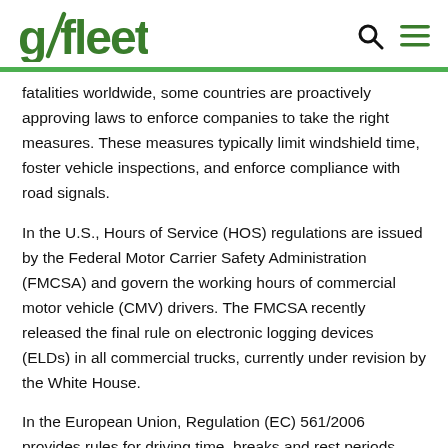gofleet
fatalities worldwide, some countries are proactively approving laws to enforce companies to take the right measures. These measures typically limit windshield time, foster vehicle inspections, and enforce compliance with road signals.
In the U.S., Hours of Service (HOS) regulations are issued by the Federal Motor Carrier Safety Administration (FMCSA) and govern the working hours of commercial motor vehicle (CMV) drivers. The FMCSA recently released the final rule on electronic logging devices (ELDs) in all commercial trucks, currently under revision by the White House.
In the European Union, Regulation (EC) 561/2006 provides rules for driving time, breaks and rest periods required for